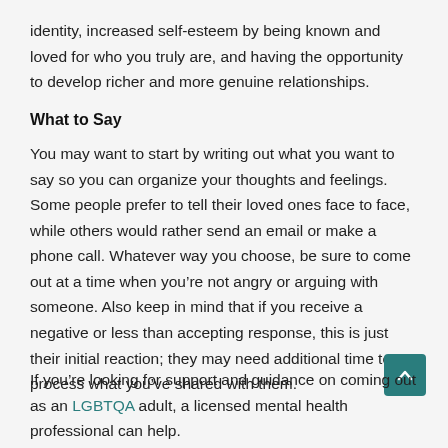identity, increased self-esteem by being known and loved for who you truly are, and having the opportunity to develop richer and more genuine relationships.
What to Say
You may want to start by writing out what you want to say so you can organize your thoughts and feelings. Some people prefer to tell their loved ones face to face, while others would rather send an email or make a phone call. Whatever way you choose, be sure to come out at a time when you’re not angry or arguing with someone. Also keep in mind that if you receive a negative or less than accepting response, this is just their initial reaction; they may need additional time to process what you’ve shared with them.
If you’re looking for support and guidance on coming out as an LGBTQA adult, a licensed mental health professional can help.